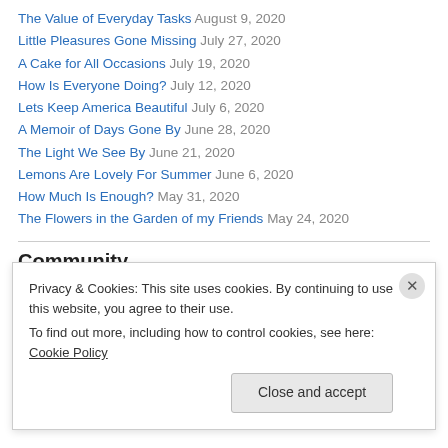The Value of Everyday Tasks August 9, 2020
Little Pleasures Gone Missing July 27, 2020
A Cake for All Occasions July 19, 2020
How Is Everyone Doing? July 12, 2020
Lets Keep America Beautiful July 6, 2020
A Memoir of Days Gone By June 28, 2020
The Light We See By June 21, 2020
Lemons Are Lovely For Summer June 6, 2020
How Much Is Enough? May 31, 2020
The Flowers in the Garden of my Friends May 24, 2020
Community
Privacy & Cookies: This site uses cookies. By continuing to use this website, you agree to their use.
To find out more, including how to control cookies, see here: Cookie Policy